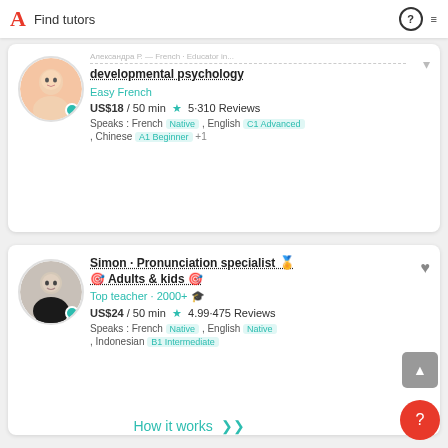Find tutors
developmental psychology
Easy French
US$18 / 50 min ★ 5·310 Reviews
Speaks : French Native , English C1 Advanced , Chinese A1 Beginner +1
Simon · Pronunciation specialist 🏅 Adults & kids 🎯
Top teacher · 2000+ 🎓
US$24 / 50 min ★ 4.99·475 Reviews
Speaks : French Native , English Native , Indonesian B1 Intermediate
How it works ∨